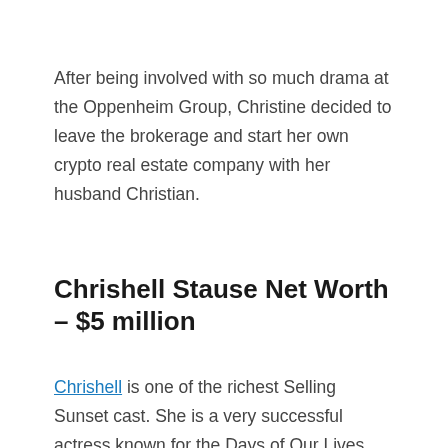After being involved with so much drama at the Oppenheim Group, Christine decided to leave the brokerage and start her own crypto real estate company with her husband Christian.
Chrishell Stause Net Worth – $5 million
Chrishell is one of the richest Selling Sunset cast. She is a very successful actress known for the Days of Our Lives series. With brand partnerships like Lipsy and Adobe and from her realtor commission, Chrishell has an estimated net worth